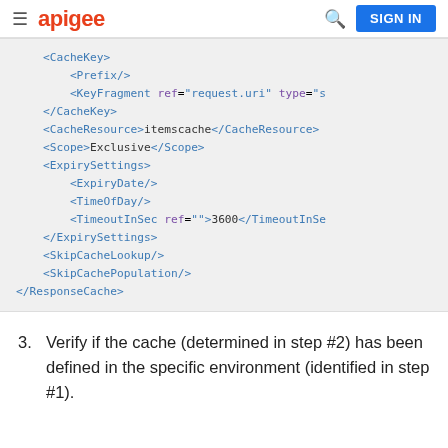apigee | SIGN IN
[Figure (screenshot): XML code block showing ResponseCache policy configuration with CacheKey, Prefix, KeyFragment, CacheResource, Scope, ExpirySettings, ExpiryDate, TimeOfDay, TimeoutInSec, SkipCacheLookup, SkipCachePopulation elements]
3. Verify if the cache (determined in step #2) has been defined in the specific environment (identified in step #1).